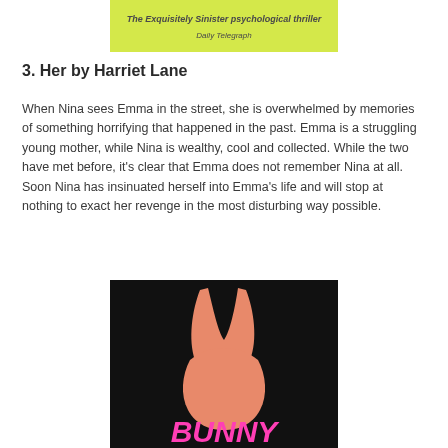[Figure (illustration): Top portion of a book cover with yellow/lime background, text reading 'The Exquisitely Sinister psychological thriller' and 'Daily Telegraph']
3. Her by Harriet Lane
When Nina sees Emma in the street, she is overwhelmed by memories of something horrifying that happened in the past. Emma is a struggling young mother, while Nina is wealthy, cool and collected. While the two have met before, it's clear that Emma does not remember Nina at all. Soon Nina has insinuated herself into Emma's life and will stop at nothing to exact her revenge in the most disturbing way possible.
[Figure (illustration): Book cover with black background showing a pink/salmon bunny silhouette and the word BUNNY in hot pink brushstroke lettering at the bottom]